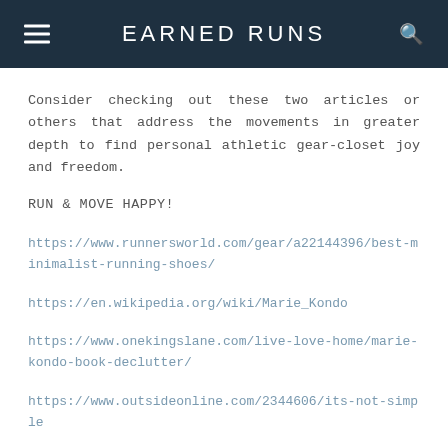EARNED RUNS
Consider checking out these two articles or others that address the movements in greater depth to find personal athletic gear-closet joy and freedom.
RUN & MOVE HAPPY!
https://www.runnersworld.com/gear/a22144396/best-minimalist-running-shoes/
https://en.wikipedia.org/wiki/Marie_Kondo
https://www.onekingslane.com/live-love-home/marie-kondo-book-declutter/
https://www.outsideonline.com/2344606/its-not-simple
https://www.smartwool.com/discover/why-merino-wool/merino-wool-101.html